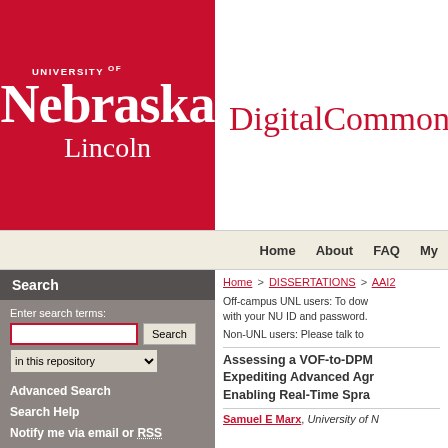[Figure (logo): University of Nebraska Lincoln logo — white text on red background with serif font]
DigitalCommon
Home   About   FAQ   My
Home > DISSERTATIONS > AAI2
Search
Enter search terms:
Advanced Search
Search Help
Notify me via email or RSS
How to Cite Items From This Repository
Off-campus UNL users: To dow with your NU ID and password.
Non-UNL users: Please talk to
Assessing a VOF-to-DPM Expediting Advanced Agr Enabling Real-Time Spra
Samuel E Marx, University of N